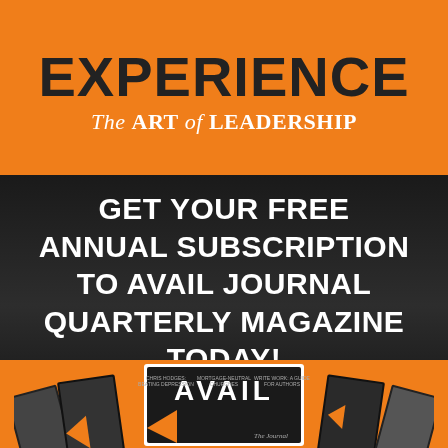EXPERIENCE
The ART of LEADERSHIP
GET YOUR FREE ANNUAL SUBSCRIPTION TO AVAIL JOURNAL QUARTERLY MAGAZINE TODAY!
[Figure (illustration): Row of Avail Journal magazine covers fanned out, showing the AVAIL branding and various issue topics including Chris Hodges, Mortgage-Neutral Churches, Write Work]